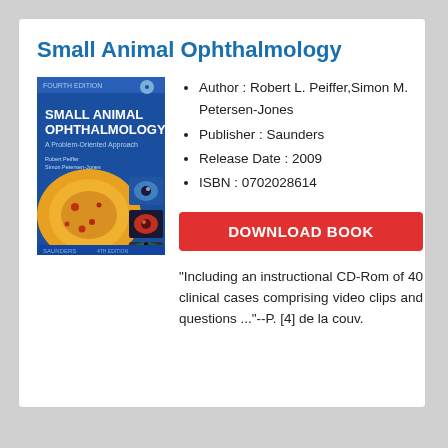Small Animal Ophthalmology
[Figure (illustration): Book cover of Small Animal Ophthalmology, Fourth Edition, A Problem-Oriented Approach, by Robert Peiffer and Simon Petersen-Jones, published by Saunders. Cover shows clinical eye images on blue background.]
Author : Robert L. Peiffer,Simon M. Petersen-Jones
Publisher : Saunders
Release Date : 2009
ISBN : 0702028614
DOWNLOAD BOOK
"Including an instructional CD-Rom of 40 clinical cases comprising video clips and questions ..."--P. [4] de la couv.